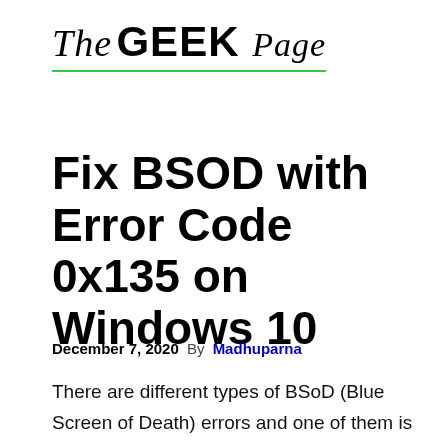[Figure (logo): The Geek Page logo with cursive 'The', bold 'GEEK', and cursive 'Page' text, underlined in green]
Fix BSOD with Error Code 0x135 on Windows 10
December 7, 2020  By  Madhuparna
There are different types of BSoD (Blue Screen of Death) errors and one of them is the error code – 0x135. The BSOD with error code 0x135 on Windows